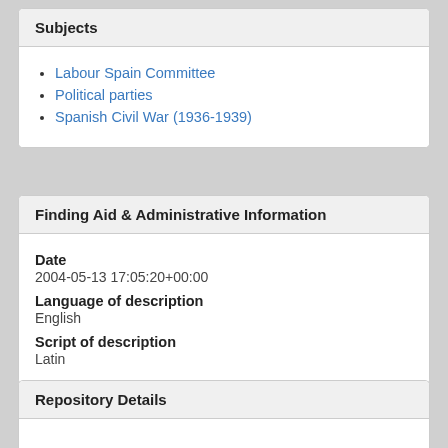Subjects
Labour Spain Committee
Political parties
Spanish Civil War (1936-1939)
Finding Aid & Administrative Information
Date
2004-05-13 17:05:20+00:00
Language of description
English
Script of description
Latin
Repository Details